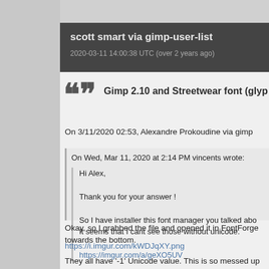scott smart via gimp-user-list
2020-03-11 14:00:38 UTC (over 2 years ago)
Gimp 2.10 and Streetwear font (glyp...
On 3/11/2020 02:53, Alexandre Prokoudine via gimp...
On Wed, Mar 11, 2020 at 2:14 PM vincents wrote:
Hi Alex,
Thank you for your answer !
So I have installer this font manager you talked abo... It seems that I cant see those without unicode.
https://imgur.com/a/geXO5UV
Okay, so I grabbed the file and opened it in FontForge... towards the bottom.
https://i.imgur.com/kWDJqXY.png
They all have '-1' Unicode value. This is so messed up...